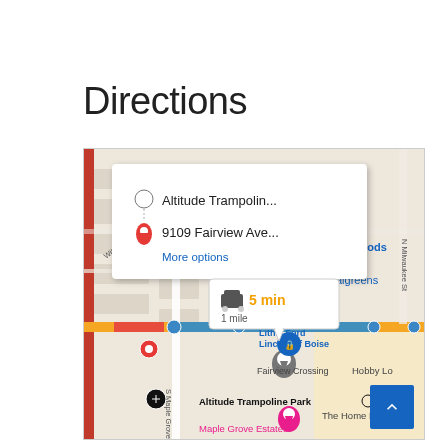Directions
[Figure (screenshot): Google Maps screenshot showing directions from Altitude Trampoline Park to 9109 Fairview Ave in Boise, Idaho. A popup box shows origin 'Altitude Trampoline...' and destination '9109 Fairview Ave...' with a 'More options' link. A route bubble shows '5 min / 1 mile' with a car icon. The map shows streets including S Maple Grove Rd, W Shellie Ln, N Milwaukee St, N Middlefield Rd, W Winchester Dr, W Amherst St, Wilmington Dr. Points of interest include WinCo Foods, Walgreens, Lithia Ford Lincoln of Boise, Fairview Crossing, Hobby Lobby, Altitude Trampoline Park, The Home Depot, and Maple Grove Estates. A blue highlighted route runs along a major road (Fairview Ave) with orange/red traffic segments.]